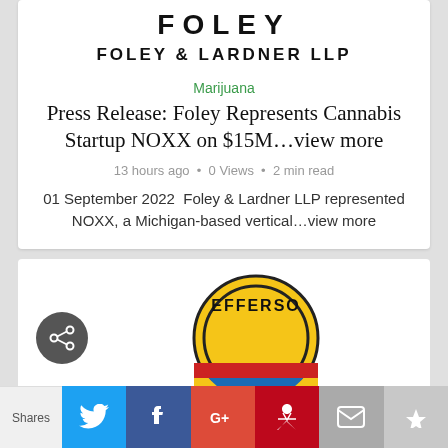[Figure (logo): Foley & Lardner LLP law firm logo with stylized letters at top and firm name below]
Marijuana
Press Release: Foley Represents Cannabis Startup NOXX on $15M...view more
13 hours ago • 0 Views • 2 min read
01 September 2022  Foley & Lardner LLP represented NOXX, a Michigan-based vertical...view more
[Figure (logo): Jefferson circular badge/seal logo in yellow and black]
Shares | Twitter | Facebook | Google+ | Pinterest | Email | Crown